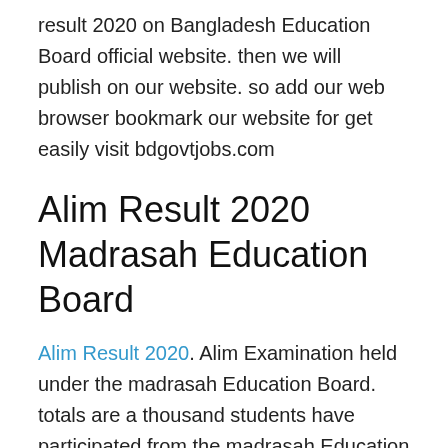result 2020 on Bangladesh Education Board official website. then we will publish on our website. so add our web browser bookmark our website for get easily visit bdgovtjobs.com
Alim Result 2020 Madrasah Education Board
Alim Result 2020. Alim Examination held under the madrasah Education Board. totals are a thousand students have participated from the madrasah Education Board in HSC Exam 2020. Madrasah Education board hsc exam result 2020 will be published on the 4th week in 2020. its time is probably. exact time and date not published by Bangladesh Education Board.